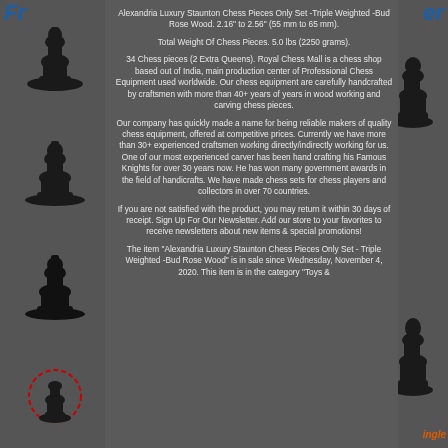Fr...er
Alexandria Luxury Staunton Chess Pieces Only Set -Triple Weighted -Bud Rose Wood. 2.16" to 2.56" (55 mm to 65 mm).
Total Weight Of Chess Pieces. 5.0 lbs (2250 grams).
34 Chess pieces (2 Extra Queens). Royal Chess Mall is a chess shop based out of India, main production center of Professional Chess Equipment used worldwide. Our chess equipment are carefully handcrafted by craftsmen with more than 40+ years of years in wood working and carving chess pieces.
Our company has quickly made a name for being reliable makers of quality chess equipment, offered at competitive prices. Currently we have more than 30+ experienced craftsmen working directly/indirectly working for us. One of our most experienced carver has been hand crafting his Famous Knights for over 30 years now. He has won many government awards in the field of handicrafts. We have made chess sets for chess players and collectors in over 70 countries.
If you are not satisfied with the product, you may return it within 30 days of receipt. Sign Up For Our Newsletter. Add our store to your favorites to receive newsletters about new items & special promotions!
The item "Alexandria Luxury Staunton Chess Pieces Only Set - Triple Weighted -Bud Rose Wood" is in sale since Wednesday, November 4, 2020. This item is in the category "Toys &
ingle